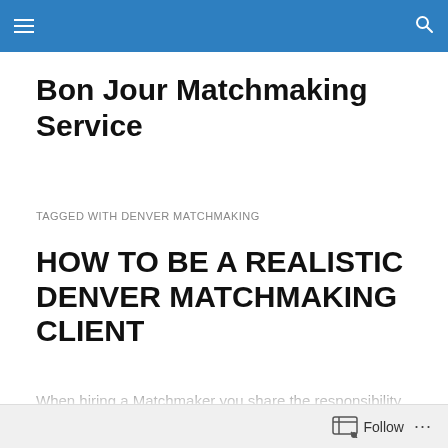Bon Jour Matchmaking Service — navigation bar
Bon Jour Matchmaking Service
TAGGED WITH DENVER MATCHMAKING
HOW TO BE A REALISTIC DENVER MATCHMAKING CLIENT
When hiring a Matchmaker you share the responsibility with the Matchmaker to work together, put your best foot
Follow ...